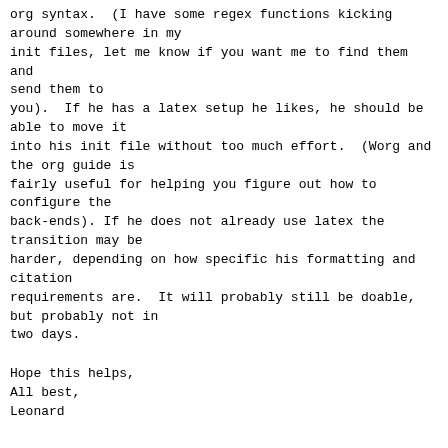org syntax.  (I have some regex functions kicking
around somewhere in my
init files, let me know if you want me to find them and
send them to
you).  If he has a latex setup he likes, he should be
able to move it
into his init file without too much effort.  (Worg and
the org guide is
fairly useful for helping you figure out how to
configure the
back-ends). If he does not already use latex the
transition may be
harder, depending on how specific his formatting and
citation
requirements are.  It will probably still be doable,
but probably not in
two days.
Hope this helps,
All best,
Leonard
Marcin Borkowski writes:
> Hi list,
>
> this is only partially Org-ode related, but I hope
I'll be excused.
> A friend of mine uses Scrivener; he also does some